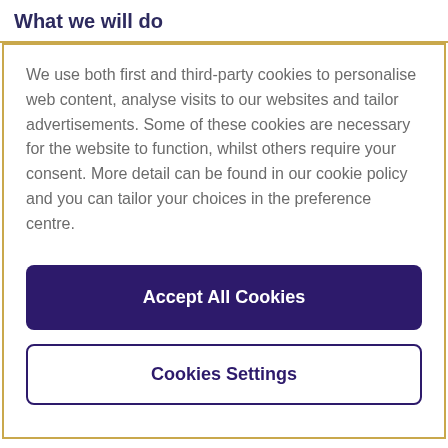What we will do
We use both first and third-party cookies to personalise web content, analyse visits to our websites and tailor advertisements. Some of these cookies are necessary for the website to function, whilst others require your consent. More detail can be found in our cookie policy and you can tailor your choices in the preference centre.
Accept All Cookies
Cookies Settings